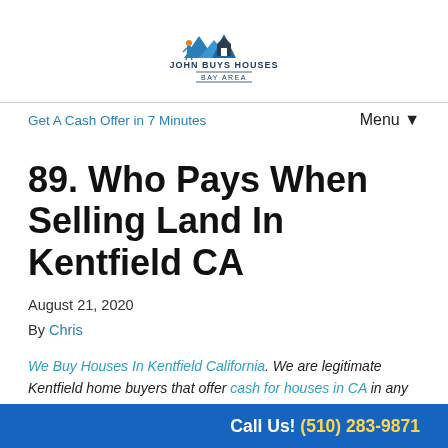[Figure (logo): John Buys Houses Bay Area logo with house/bridge icons and person figure]
Get A Cash Offer in 7 Minutes   Menu ▼
89. Who Pays When Selling Land In Kentfield CA
August 21, 2020
By Chris
We Buy Houses In Kentfield California. We are legitimate Kentfield home buyers that offer cash for houses in CA in any situation. Are you thinking about selling...
Call Us! (510) 283-9871